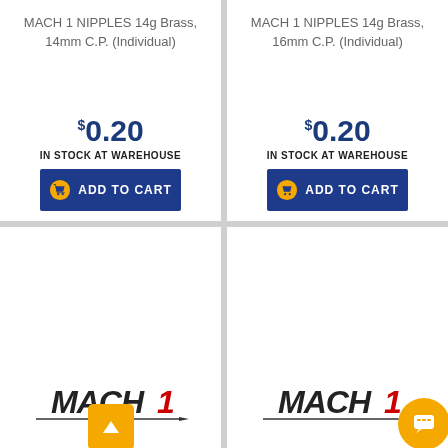MACH 1 NIPPLES 14g Brass, 14mm C.P. (Individual)
$0.20
IN STOCK AT WAREHOUSE
ADD TO CART
MACH 1 NIPPLES 14g Brass, 16mm C.P. (Individual)
$0.20
IN STOCK AT WAREHOUSE
ADD TO CART
[Figure (logo): Mach 1 logo with italic text and red accent stripe]
[Figure (logo): Mach 1 logo with italic text and red accent stripe]